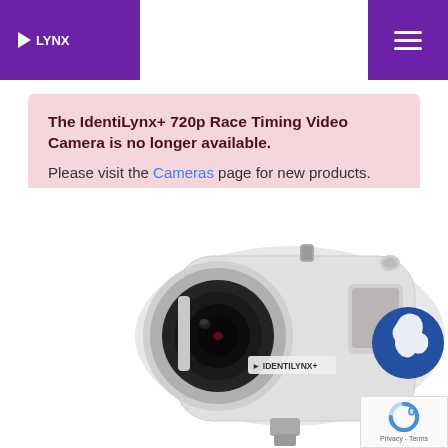LYNX
The IdentiLynx+ 720p Race Timing Video Camera is no longer available. Please visit the Cameras page for new products.
[Figure (photo): White IdentiLynx+ race timing video camera with lens visible on the left side and Lynx logo (blue horse head in circle) on the right side. The camera has 'IDENTILYNX' branding on its body.]